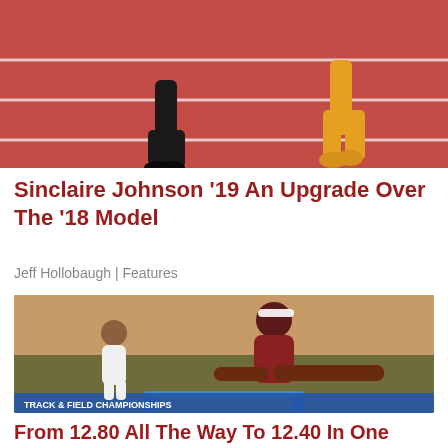[Figure (photo): Close-up photo of runners' legs on a red track with white lane markings]
Sinclaire Johnson '19 An Upgrade Over The '18 Model
Jeff Hollobaugh | Features
[Figure (photo): Female athlete in dark red Arkansas uniform clearing a hurdle at the NCAA Track & Field Championships, with Iowa State competitor in background]
From 12.80 All The Way To 12.40 In One Year